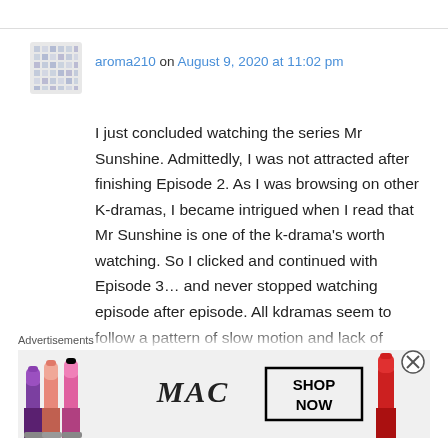aroma210 on August 9, 2020 at 11:02 pm
I just concluded watching the series Mr Sunshine. Admittedly, I was not attracted after finishing Episode 2. As I was browsing on other K-dramas, I became intrigued when I read that Mr Sunshine is one of the k-drama's worth watching. So I clicked and continued with Episode 3… and never stopped watching episode after episode. All kdramas seem to follow a pattern of slow motion and lack of physical (bodily) intimacy even when appropriate at times. What sets this kdrama apart for me is
Advertisements
[Figure (photo): MAC cosmetics advertisement showing lipsticks in purple, pink and red colors with MAC logo and SHOP NOW button]